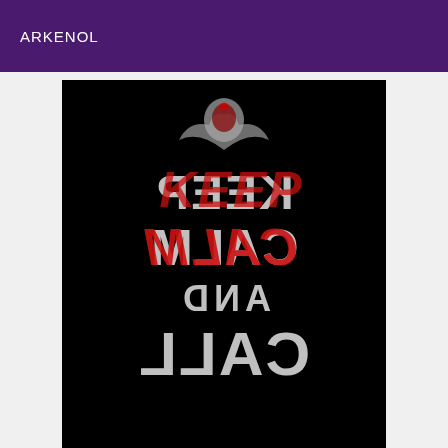ARKENOL
[Figure (illustration): A mirrored/reversed 'Keep Calm and Call' poster parody on a black background with a bat/demon crown icon at top, white bold text reading KEEP, CALM, AND, CALL in reversed orientation, with red graffiti-style paint splatter overlaying CALM text.]